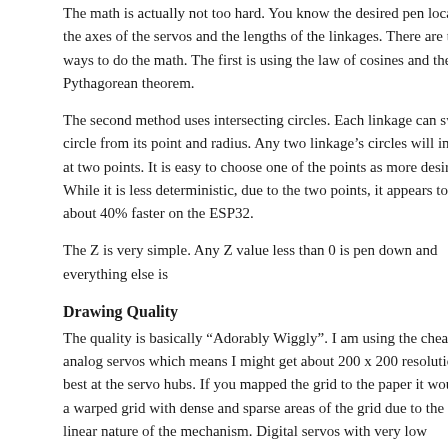The math is actually not too hard. You know the desired pen location, the axes of the servos and the lengths of the linkages. There are two ways to do the math. The first is using the law of cosines and the Pythagorean theorem.
The second method uses intersecting circles. Each linkage can sweep a circle from its point and radius. Any two linkage’s circles will intersect at two points. It is easy to choose one of the points as more desirable. While it is less deterministic, due to the two points, it appears to run about 40% faster on the ESP32.
The Z is very simple. Any Z value less than 0 is pen down and everything else is
Drawing Quality
The quality is basically “Adorably Wiggly”. I am using the cheapest analog servos which means I might get about 200 x 200 resolution at best at the servo hubs. If you mapped the grid to the paper it would be a warped grid with dense and sparse areas of the grid due to the non-linear nature of the mechanism. Digital servos with very low deadbands and high quality would probably do a lot better, but I am not sure that is worth it. It would only be less wiggly. They cost about 4x what analog servos do (still pretty cheap).
There is a calibration feature. Each servo is a little different and it is difficult to precisely mount the arms at the right angle. The calibration adjusts the zero angle and pulse width range of rotation.
Next Steps
This project is part of a talk proposal for Hackaday SuperCon 2018. If that gets